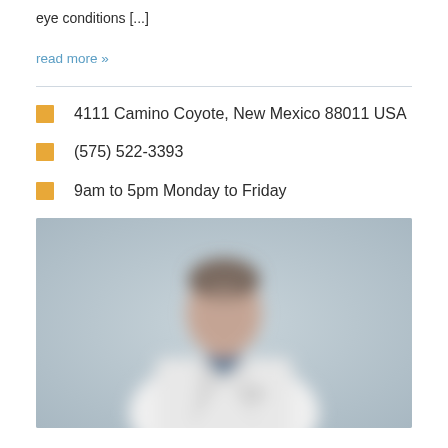eye conditions [...]
read more »
4111 Camino Coyote, New Mexico 88011 USA
(575) 522-3393
9am to 5pm Monday to Friday
[Figure (photo): Blurred photo of a doctor/physician wearing a white lab coat, photographed against a light gray background. The image is out of focus.]